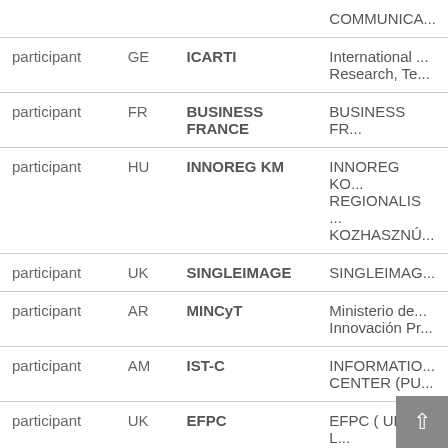| Role | Country | Short Name | Full Name |
| --- | --- | --- | --- |
|  |  |  | COMMUNICA... |
| participant | GE | ICARTI | International ... Research, Te... |
| participant | FR | BUSINESS FRANCE | BUSINESS FR... |
| participant | HU | INNOREG KM | INNOREG KO... REGIONALIS ... KOZHASZNÚ... |
| participant | UK | SINGLEIMAGE | SINGLEIMAG... |
| participant | AR | MINCyT | Ministerio de... Innovación Pr... |
| participant | AM | IST-C | INFORMATIO... CENTER (PU... |
| participant | UK | EFPC | EFPC ( UK ) L... |
| participant | PL | IPPT PAN | INSTYTU... PO... TECHNIKI P... |